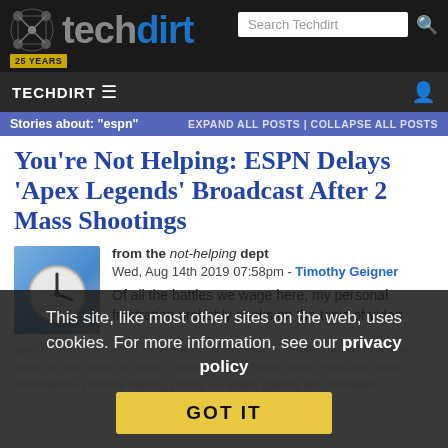[Figure (logo): Techdirt logo with icon and 25 YEARS badge]
TECHDIRT ≡
Stories about: "espn" | EXPAND ALL POSTS | COLLAPSE ALL POSTS
You're Not Helping: ESPN Delays 'Apex Legends' Broadcast After 2 Mass Shootings
from the not-helping dept
Wed, Aug 14th 2019 07:58pm - Timothy Geigner
Of all the battles we wage here, my personal frustration probably peaks on the topic of video games and real world violence. The amount of...
This site, like most other sites on the web, uses cookies. For more information, see our privacy policy
GOT IT